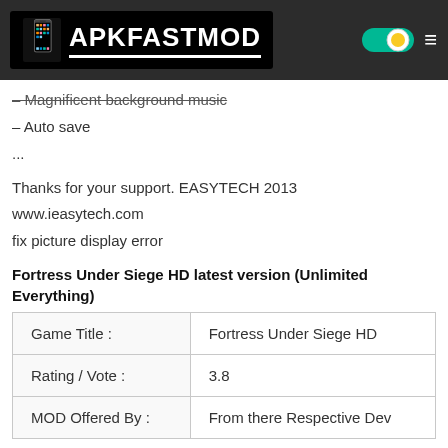APKFASTMOD
– Magnificent background music
– Auto save
...
Thanks for your support. EASYTECH 2013
www.ieasytech.com
fix picture display error
Fortress Under Siege HD latest version (Unlimited Everything)
| Game Title : | Fortress Under Siege HD |
| --- | --- |
| Rating / Vote : | 3.8 |
| MOD Offered By : | From there Respective Dev |